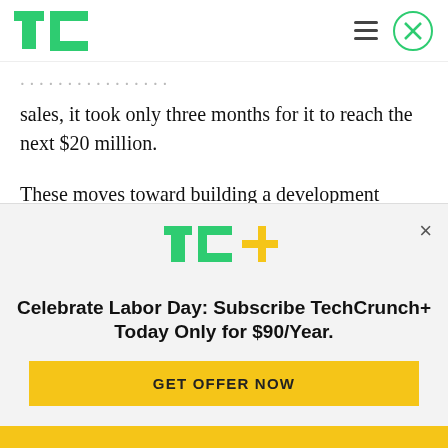TechCrunch header with logo, hamburger menu, and close button
sales, it took only three months for it to reach the next $20 million.
These moves toward building a development platform, which mirror the playbook of enterprise software leader Salesforce, put the two messaging platforms on a collision course. Adding developers
[Figure (logo): TC+ logo (TechCrunch Plus) with green TC letters and yellow plus sign]
Celebrate Labor Day: Subscribe TechCrunch+ Today Only for $90/Year.
GET OFFER NOW